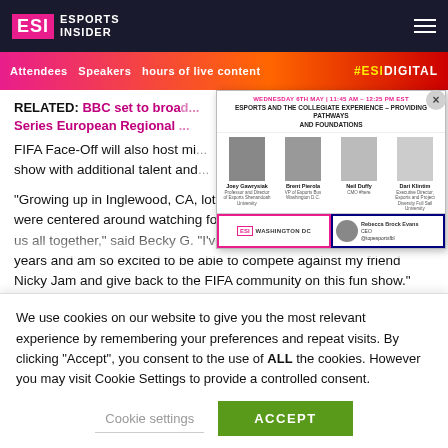ESI ESPORTS INSIDER
[Figure (screenshot): ESI Digital event popup showing speakers for 'Esports and the Collegiate Experience - Providing Pathways and Foundations' session on Wednesday 6th May, with Joey Gawrysiak, Brent Pierola, Neil Duffy, Dari Klintim, and moderator Rebecca Brock Evans. Footer shows ESI Washington DC branding.]
RELATED: BBC set to broa... Series European Regional...
FIFA Face-Off will also host mi... show with additional talent and...
“Growing up in Inglewood, CA, lots of nights in the Gomez household were centered around watching football, and it’s something that brings us all together,” said Becky G. “I’ve been around EA SPORTS FIFA for years and am so excited to be able to compete against my friend Nicky Jam and give back to the FIFA community on this fun show.”
We use cookies on our website to give you the most relevant experience by remembering your preferences and repeat visits. By clicking “Accept”, you consent to the use of ALL the cookies. However you may visit Cookie Settings to provide a controlled consent.